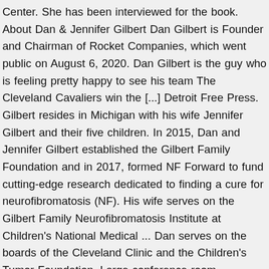Center. She has been interviewed for the book. About Dan & Jennifer Gilbert Dan Gilbert is Founder and Chairman of Rocket Companies, which went public on August 6, 2020. Dan Gilbert is the guy who is feeling pretty happy to see his team The Cleveland Cavaliers win the [...] Detroit Free Press. Gilbert resides in Michigan with his wife Jennifer Gilbert and their five children. In 2015, Dan and Jennifer Gilbert established the Gilbert Family Foundation and in 2017, formed NF Forward to fund cutting-edge research dedicated to finding a cure for neurofibromatosis (NF). His wife serves on the Gilbert Family Neurofibromatosis Institute at Children's National Medical ... Dan serves on the boards of the Cleveland Clinic and the Children's Tumor Foundation. Large conference room surrounded by glass windows at the new Quicken Loans Technology Center in Corktown, Detroit on Tuesday, June 30, 2015. The project is planned as Detroit's tallest new building when it opens around 2022 but it remains in the early stages of construction. The award comes as Gilbert continues his journey of recovery from a debilitating stroke he suffered on May